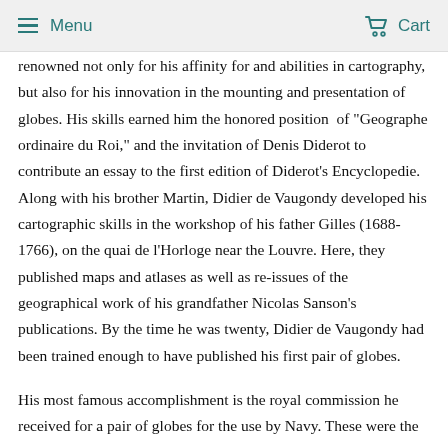≡ Menu   🛒 Cart
renowned not only for his affinity for and abilities in cartography, but also for his innovation in the mounting and presentation of globes. His skills earned him the honored position of "Geographe ordinaire du Roi," and the invitation of Denis Diderot to contribute an essay to the first edition of Diderot's Encyclopedie. Along with his brother Martin, Didier de Vaugondy developed his cartographic skills in the workshop of his father Gilles (1688-1766), on the quai de l'Horloge near the Louvre. Here, they published maps and atlases as well as re-issues of the geographical work of his grandfather Nicolas Sanson's publications. By the time he was twenty, Didier de Vaugondy had been trained enough to have published his first pair of globes.
His most famous accomplishment is the royal commission he received for a pair of globes for the use by Navy. These were the